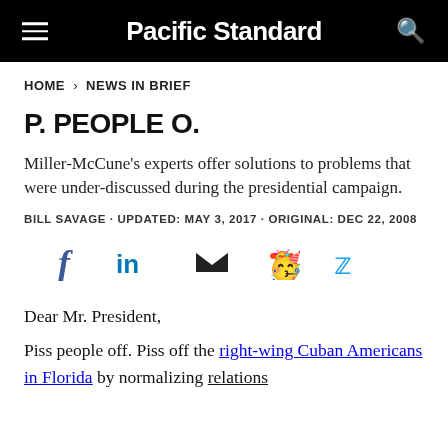Pacific Standard
HOME > NEWS IN BRIEF
P. PEOPLE O.
Miller-McCune's experts offer solutions to problems that were under-discussed during the presidential campaign.
BILL SAVAGE · UPDATED: MAY 3, 2017 · ORIGINAL: DEC 22, 2008
[Figure (infographic): Social sharing icons: Facebook, LinkedIn, Email, Reddit, Twitter]
Dear Mr. President,
Piss people off. Piss off the right-wing Cuban Americans in Florida by normalizing relations